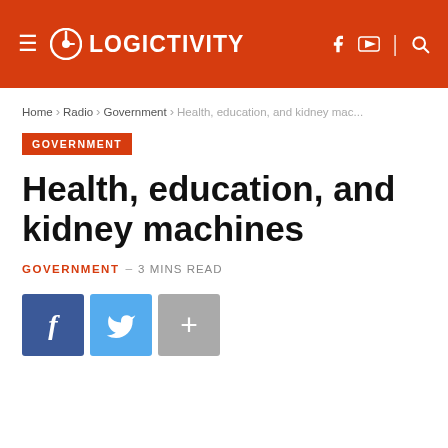LOGICTIVITY
Home > Radio > Government > Health, education, and kidney mac...
GOVERNMENT
Health, education, and kidney machines
GOVERNMENT – 3 MINS READ
[Figure (other): Social share buttons: Facebook, Twitter, and a plus/more button]